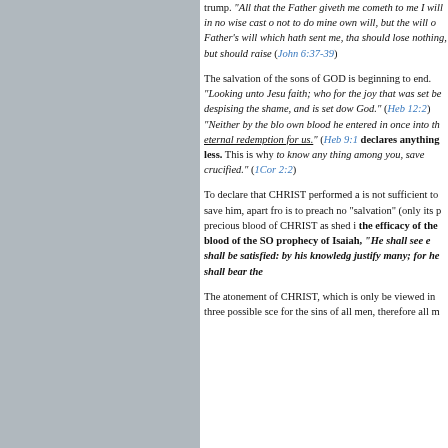[Figure (other): Gray background panel occupying the left portion of the page]
trump. "All that the Father giveth me cometh to me I will in no wise cast out not to do mine own will, but the will of Father's will which hath sent me, that should lose nothing, but should raise (John 6:37-39)
The salvation of the sons of GOD is beginning to end. "Looking unto Jesus faith; who for the joy that was set before despising the shame, and is set down God." (Heb 12:2) "Neither by the blood own blood he entered in once into the eternal redemption for us." (Heb 9:12) declares anything less. This is why to know any thing among you, save crucified." (1Cor 2:2)
To declare that CHRIST performed a is not sufficient to save him, apart from is to preach no "salvation" (only its precious blood of CHRIST as shed in the efficacy of the blood of the SO prophecy of Isaiah, "He shall see shall be satisfied: by his knowledge justify many; for he shall bear the
The atonement of CHRIST, which is only be viewed in three possible sce for the sins of all men, therefore all m